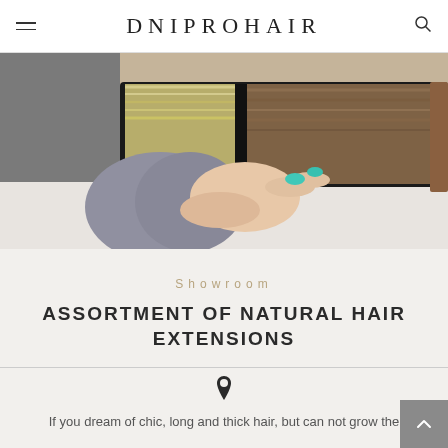DNIPROHAIR
[Figure (photo): A hand with teal nail polish holding a tray or case displaying samples of hair extensions – blonde and brunette strands laid flat on a dark surface on a white table]
Showroom
ASSORTMENT OF NATURAL HAIR EXTENSIONS
If you dream of chic, long and thick hair, but can not grow the